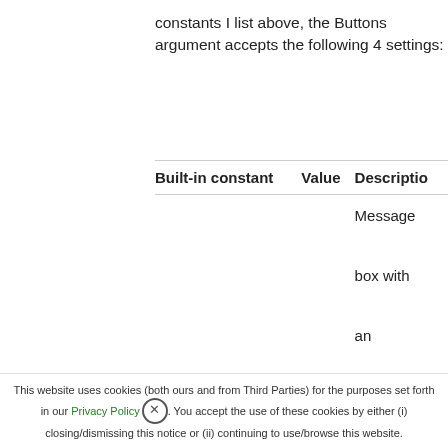constants I list above, the Buttons argument accepts the following 4 settings:
| Built-in constant | Value | Description |
| --- | --- | --- |
|  |  | Message box with an additional Help button. |
This website uses cookies (both ours and from Third Parties) for the purposes set forth in our Privacy Policy. You accept the use of these cookies by either (i) closing/dismissing this notice or (ii) continuing to use/browse this website.